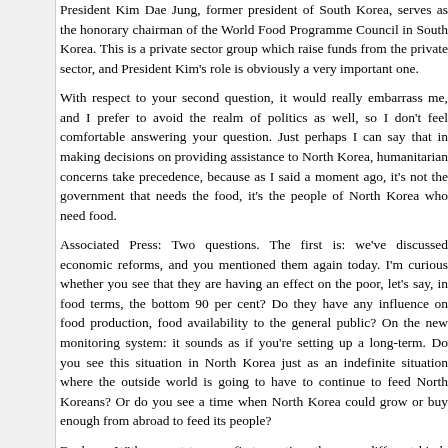President Kim Dae Jung, former president of South Korea, serves as the honorary chairman of the World Food Programme Council in South Korea. This is a private sector group which raise funds from the private sector, and President Kim's role is obviously a very important one.
With respect to your second question, it would really embarrass me, and I prefer to avoid the realm of politics as well, so I don't feel comfortable answering your question. Just perhaps I can say that in making decisions on providing assistance to North Korea, humanitarian concerns take precedence, because as I said a moment ago, it's not the government that needs the food, it's the people of North Korea who need food.
Associated Press: Two questions. The first is: we've discussed economic reforms, and you mentioned them again today. I'm curious whether you see that they are having an effect on the poor, let's say, in food terms, the bottom 90 per cent? Do they have any influence on food production, food availability to the general public? On the new monitoring system: it sounds as if you're setting up a long-term. Do you see this situation in North Korea just as an indefinite situation where the outside world is going to have to continue to feed North Koreans? Or do you see a time when North Korea could grow or buy enough from abroad to feed its people?
Banbury: With respect to your first question, there are different kinds of impact. In fact, there are many different kinds of impacts. The most obvious is that salaries of workers, government officials etc. ha...